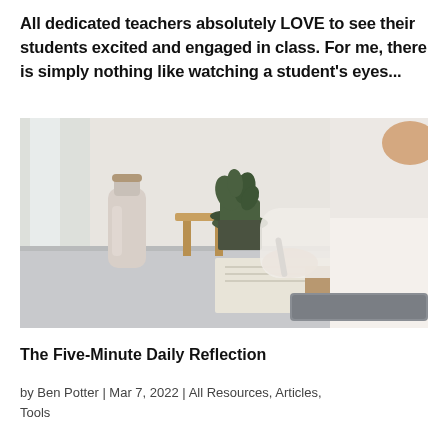All dedicated teachers absolutely LOVE to see their students excited and engaged in class. For me, there is simply nothing like watching a student's eyes...
[Figure (photo): A person in a white lace sweater writing in a notebook at a white desk, with a beige water bottle and a green potted plant on a wooden stool in the background, and a grey laptop partially visible in the foreground.]
The Five-Minute Daily Reflection
by Ben Potter | Mar 7, 2022 | All Resources, Articles, Tools